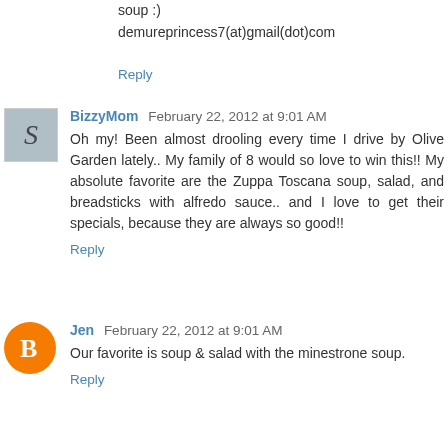soup :)
demureprincess7(at)gmail(dot)com
Reply
BizzyMom  February 22, 2012 at 9:01 AM
Oh my! Been almost drooling every time I drive by Olive Garden lately.. My family of 8 would so love to win this!! My absolute favorite are the Zuppa Toscana soup, salad, and breadsticks with alfredo sauce.. and I love to get their specials, because they are always so good!!
Reply
Jen  February 22, 2012 at 9:01 AM
Our favorite is soup & salad with the minestrone soup.
Reply